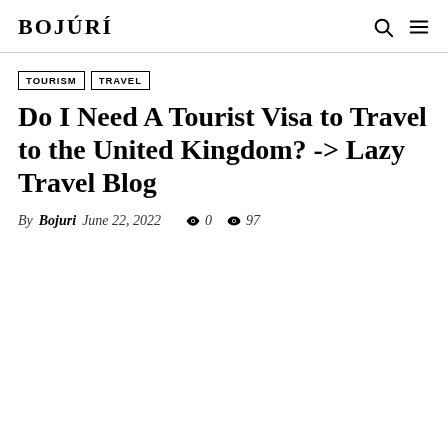BOJÚRÍ
TOURISM
TRAVEL
Do I Need A Tourist Visa to Travel to the United Kingdom? -> Lazy Travel Blog
By Bojuri   June 22, 2022   0   97